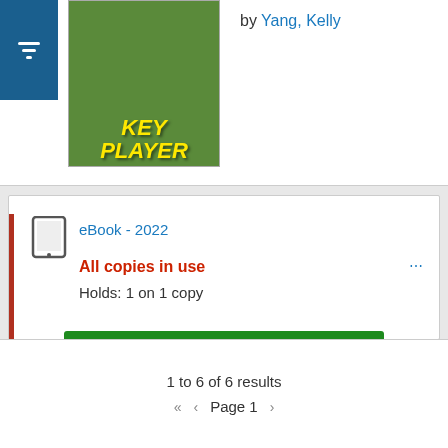by Yang, Kelly
[Figure (illustration): Book cover of 'Key Player' showing illustrated children characters on a colorful background]
eBook - 2022
All copies in use
Holds: 1 on 1 copy
Place hold
For Later
1 to 6 of 6 results
Page 1